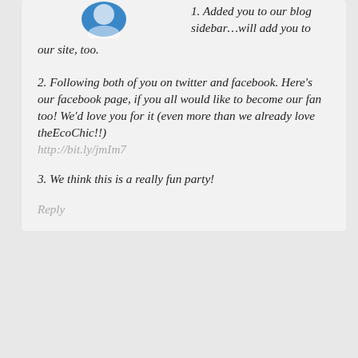[Figure (logo): Circular blue logo/avatar partially visible at top]
1. Added you to our blog sidebar…will add you to our site, too.
2. Following both of you on twitter and facebook. Here's our facebook page, if you all would like to become our fan too! We'd love you for it (even more than we already love theEcoChic!!) http://bit.ly/jmIm7
3. We think this is a really fun party!
Reply